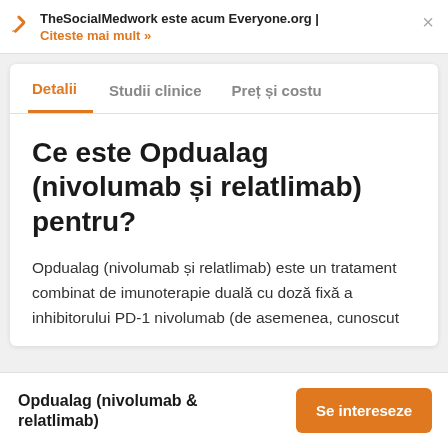TheSocialMedwork este acum Everyone.org | Citeste mai mult »
Detalii  Studii clinice  Preț și costu
Ce este Opdualag (nivolumab și relatlimab) pentru?
Opdualag (nivolumab și relatlimab) este un tratament combinat de imunoterapie duală cu doză fixă a inhibitorului PD-1 nivolumab (de asemenea, cunoscut
Opdualag (nivolumab & relatlimab)  Se intereseze